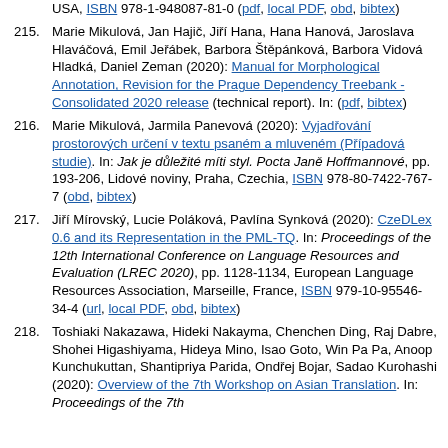(continuation) USA, ISBN 978-1-948087-81-0 (pdf, local PDF, obd, bibtex)
215. Marie Mikulová, Jan Hajič, Jiří Hana, Hana Hanová, Jaroslava Hlaváčová, Emil Jeřábek, Barbora Štěpánková, Barbora Vidová Hladká, Daniel Zeman (2020): Manual for Morphological Annotation, Revision for the Prague Dependency Treebank - Consolidated 2020 release (technical report). In: (pdf, bibtex)
216. Marie Mikulová, Jarmila Panevová (2020): Vyjadřování prostorových určení v textu psaném a mluveném (Případová studie). In: Jak je důležité míti styl. Pocta Janě Hoffmannové, pp. 193-206, Lidové noviny, Praha, Czechia, ISBN 978-80-7422-767-7 (obd, bibtex)
217. Jiří Mírovský, Lucie Poláková, Pavlína Synková (2020): CzeDLex 0.6 and its Representation in the PML-TQ. In: Proceedings of the 12th International Conference on Language Resources and Evaluation (LREC 2020), pp. 1128-1134, European Language Resources Association, Marseille, France, ISBN 979-10-95546-34-4 (url, local PDF, obd, bibtex)
218. Toshiaki Nakazawa, Hideki Nakayma, Chenchen Ding, Raj Dabre, Shohei Higashiyama, Hideya Mino, Isao Goto, Win Pa Pa, Anoop Kunchukuttan, Shantipriya Parida, Ondřej Bojar, Sadao Kurohashi (2020): Overview of the 7th Workshop on Asian Translation. In: Proceedings of the 7th...